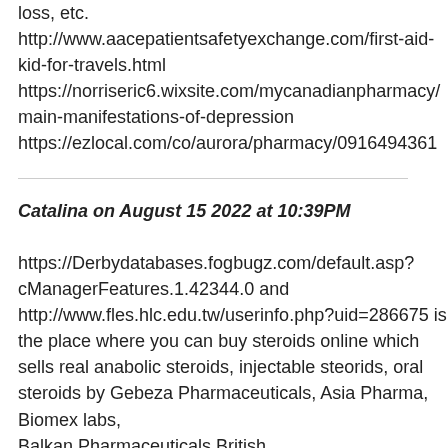loss, etc.
http://www.aacepatientsafetyexchange.com/first-aid-kid-for-travels.html
https://norriseric6.wixsite.com/mycanadianpharmacy/main-manifestations-of-depression
https://ezlocal.com/co/aurora/pharmacy/0916494361
Catalina on August 15 2022 at 10:39PM
https://Derbydatabases.fogbugz.com/default.asp?cManagerFeatures.1.42344.0 and http://www.fles.hlc.edu.tw/userinfo.php?uid=286675 is the place where you can buy steroids online which sells real anabolic steroids, injectable steorids, oral steroids by Gebeza Pharmaceuticals, Asia Pharma, Biomex labs, Balkan Pharmaceuticals British